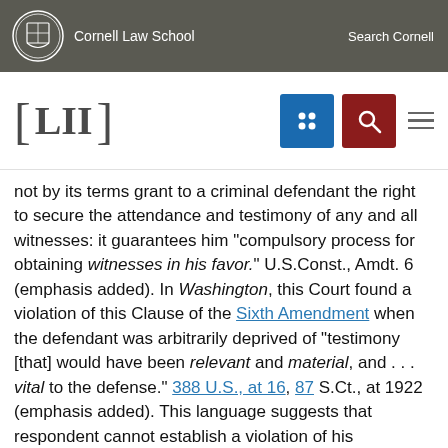Cornell Law School   Search Cornell
not by its terms grant to a criminal defendant the right to secure the attendance and testimony of any and all witnesses: it guarantees him "compulsory process for obtaining witnesses in his favor." U.S.Const., Amdt. 6 (emphasis added). In Washington, this Court found a violation of this Clause of the Sixth Amendment when the defendant was arbitrarily deprived of "testimony [that] would have been relevant and material, and . . . vital to the defense." 388 U.S., at 16, 87 S.Ct., at 1922 (emphasis added). This language suggests that respondent cannot establish a violation of his constitutional right to compulsory process merely by showing that deportation of the passengers deprived him of the testimony and he was to blame...